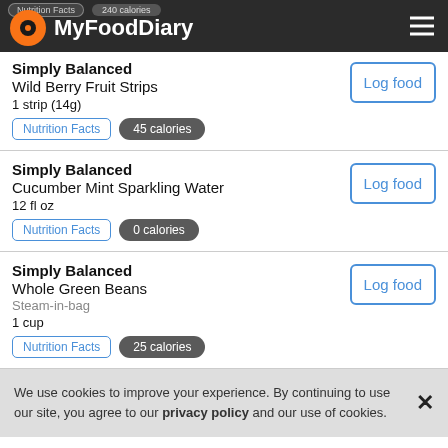MyFoodDiary | Nutrition Facts | 240 calories
Simply Balanced
Wild Berry Fruit Strips
1 strip (14g)
Nutrition Facts | 45 calories
Simply Balanced
Cucumber Mint Sparkling Water
12 fl oz
Nutrition Facts | 0 calories
Simply Balanced
Whole Green Beans
Steam-in-bag
1 cup
Nutrition Facts | 25 calories
We use cookies to improve your experience. By continuing to use our site, you agree to our privacy policy and our use of cookies.